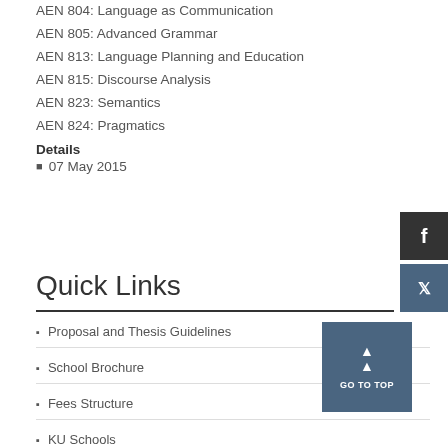AEN 804: Language as Communication
AEN 805: Advanced Grammar
AEN 813: Language Planning and Education
AEN 815: Discourse Analysis
AEN 823: Semantics
AEN 824: Pragmatics
Details
07 May 2015
Quick Links
Proposal and Thesis Guidelines
School Brochure
Fees Structure
KU Schools